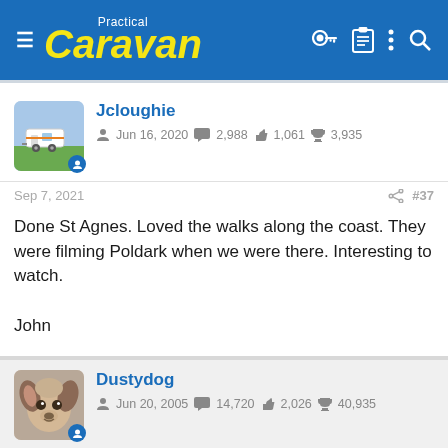Practical Caravan
[Figure (photo): User avatar for Jcloughie showing a caravan scene]
Jcloughie
Jun 16, 2020  2,988  1,061  3,935
Sep 7, 2021  #37
Done St Agnes. Loved the walks along the coast. They were filming Poldark when we were there. Interesting to watch.

John
[Figure (photo): User avatar for Dustydog showing a dog]
Dustydog
Jun 20, 2005  14,720  2,026  40,935
Sep 7, 2021